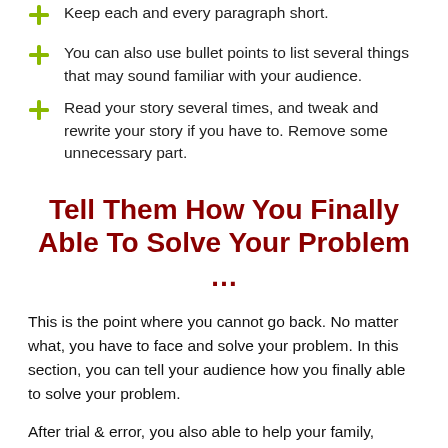Keep each and every paragraph short.
You can also use bullet points to list several things that may sound familiar with your audience.
Read your story several times, and tweak and rewrite your story if you have to. Remove some  unnecessary part.
Tell Them How You Finally Able To Solve Your Problem …
This is the point where you cannot go back. No matter what, you have to face and solve your problem. In this section, you can tell your audience how you finally able to solve your problem.
After trial & error, you also able to help your family, friends, or colleagues that have the same problem as yours. And now, you're about to tell the world the *Secret Weapon* that your use to finally solve and get rid of the problem(s) completely.